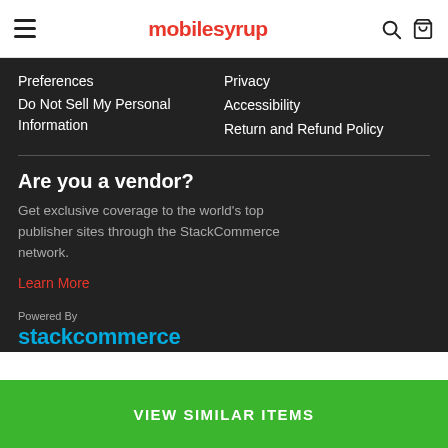mobilesyrup
Preferences
Privacy
Do Not Sell My Personal Information
Accessibility
Return and Refund Policy
Are you a vendor?
Get exclusive coverage to the world's top publisher sites through the StackCommerce network.
Learn More
Powered By
stackcommerce
VIEW SIMILAR ITEMS